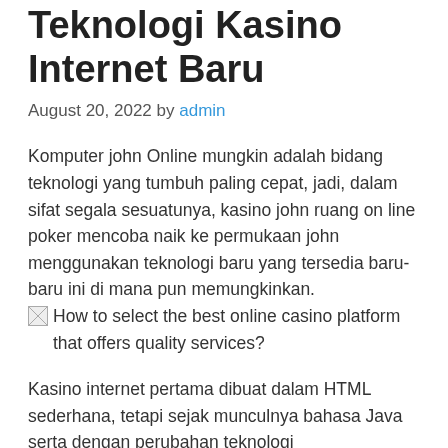Teknologi Kasino Internet Baru
August 20, 2022 by admin
Komputer john Online mungkin adalah bidang teknologi yang tumbuh paling cepat, jadi, dalam sifat segala sesuatunya, kasino john ruang on line poker mencoba naik ke permukaan john menggunakan teknologi baru yang tersedia baru-baru ini di mana pun memungkinkan.
[Figure (other): Broken image placeholder with alt text: How to select the best online casino platform that offers quality services?]
Kasino internet pertama dibuat dalam HTML sederhana, tetapi sejak munculnya bahasa Java serta dengan perubahan teknologi